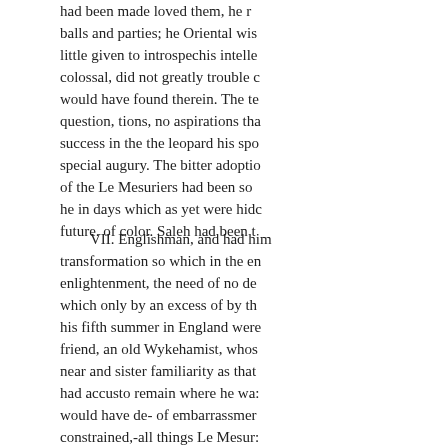had been made loved them, he balls and parties; he Oriental wis little given to introspechis intelle colossal, did not greatly trouble c would have found therein. The te question, tions, no aspirations tha success in the the leopard his spo special augury. The bitter adoptio of the Le Mesuriers had been so he in days which as yet were hid future. of color. Saleh had been t
VII. Englishman, and had him transformation so which in the en enlightenment, the need of no de which only by an excess of by th his fifth summer in England were friend, an old Wykehamist, whos near and sister familiarity as that had accusto remain where he wa: would have de- of embarrassmer constrained,-all things Le Mesur: be good for him to be severed ke way it was pleasurable, stimula" senforced to stand alone. He the